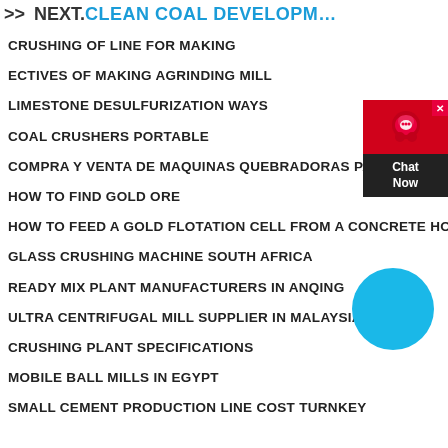>> NEXT.CLEAN COAL DEVELOPM…
CRUSHING OF LINE FOR MAKING
ECTIVES OF MAKING AGRINDING MILL
LIMESTONE DESULFURIZATION WAYS
COAL CRUSHERS PORTABLE
COMPRA Y VENTA DE MAQUINAS QUEBRADORAS PARA R…
HOW TO FIND GOLD ORE
HOW TO FEED A GOLD FLOTATION CELL FROM A CONCRETE HO…
GLASS CRUSHING MACHINE SOUTH AFRICA
READY MIX PLANT MANUFACTURERS IN ANQING
ULTRA CENTRIFUGAL MILL SUPPLIER IN MALAYSIA
CRUSHING PLANT SPECIFICATIONS
MOBILE BALL MILLS IN EGYPT
SMALL CEMENT PRODUCTION LINE COST TURNKEY
[Figure (other): Chat widget with headset icon and 'Chat Now' text, plus a blue circle button]